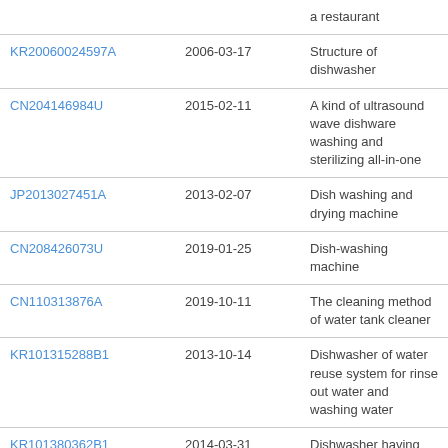| Patent Number | Date | Title |
| --- | --- | --- |
|  |  | a restaurant |
| KR20060024597A | 2006-03-17 | Structure of dishwasher |
| CN204146984U | 2015-02-11 | A kind of ultrasound wave dishware washing and sterilizing all-in-one |
| JP2013027451A | 2013-02-07 | Dish washing and drying machine |
| CN208426073U | 2019-01-25 | Dish-washing machine |
| CN110313876A | 2019-10-11 | The cleaning method of water tank cleaner |
| KR101315288B1 | 2013-10-14 | Dishwasher of water reuse system for rinse out water and washing water |
| KR101380362B1 | 2014-03-31 | Dishwasher having water tank in which the water thrown away gathers again |